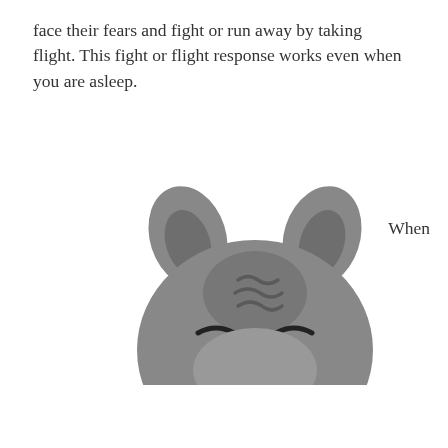face their fears and fight or run away by taking flight. This fight or flight response works even when you are asleep.
[Figure (illustration): A cartoon illustration of a sleeping cat face (grey tabby) with closed eyes and striped forehead markings, peeking up from the bottom, with two ears visible at the top.]
When